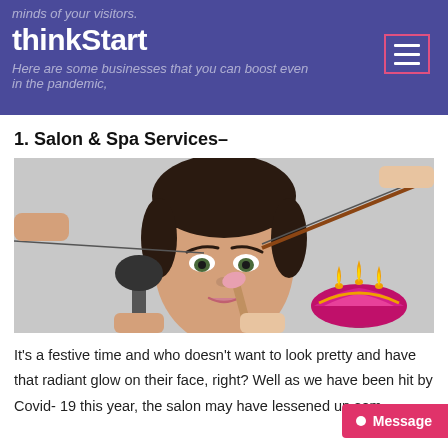thinkStart
minds of your visitors.
Here are some businesses that you can boost even in the pandemic,
1. Salon & Spa Services–
[Figure (photo): Woman having makeup applied with brushes, with a decorative diya lamp overlay in the bottom right corner]
It's a festive time and who doesn't want to look pretty and have that radiant glow on their face, right? Well as we have been hit by Covid- 19 this year, the salon may have lessened up some grip